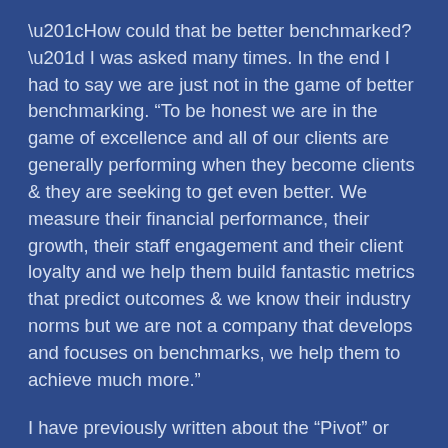“How could that be better benchmarked?” I was asked many times. In the end I had to say we are just not in the game of better benchmarking. “To be honest we are in the game of excellence and all of our clients are generally performing when they become clients & they are seeking to get even better. We measure their financial performance, their growth, their staff engagement and their client loyalty and we help them build fantastic metrics that predict outcomes & we know their industry norms but we are not a company that develops and focuses on benchmarks, we help them to achieve much more.”
I have previously written about the “Pivot” or consciously changing and executing a strategy to stay ahead of the crowd before they catch up. This is hard to do and takes very strong and focused leaders who actively disrupt the “business as usual thinking” of the business in a positive